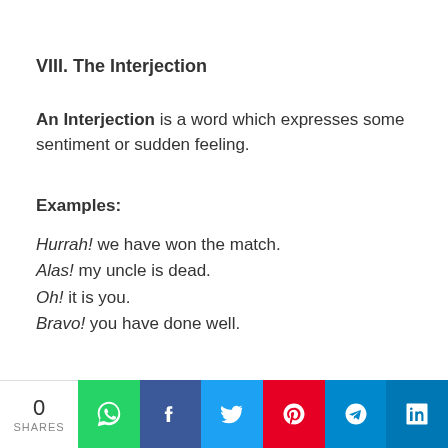VIII. The Interjection
An Interjection is a word which expresses some sentiment or sudden feeling.
Examples:
Hurrah! we have won the match.
Alas! my uncle is dead.
Oh! it is you.
Bravo! you have done well.
All the words in italics are Interjections.
Exercise